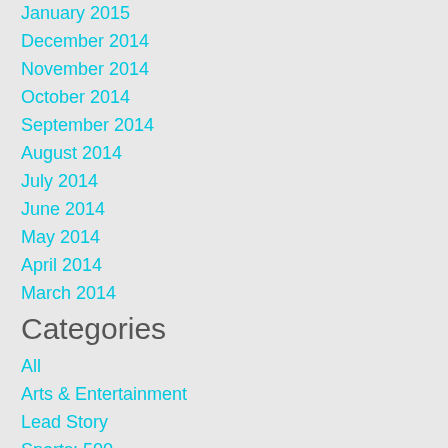January 2015
December 2014
November 2014
October 2014
September 2014
August 2014
July 2014
June 2014
May 2014
April 2014
March 2014
Categories
All
Arts & Entertainment
Lead Story
Sports: 500
Sports: Basketball
Sports: Track